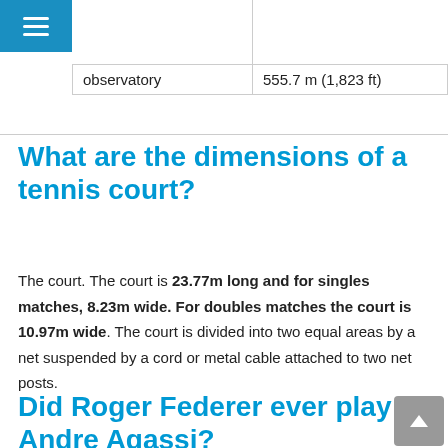| observatory | 555.7 m (1,823 ft) |
What are the dimensions of a tennis court?
The court. The court is 23.77m long and for singles matches, 8.23m wide. For doubles matches the court is 10.97m wide. The court is divided into two equal areas by a net suspended by a cord or metal cable attached to two net posts.
Did Roger Federer ever play Andre Agassi?